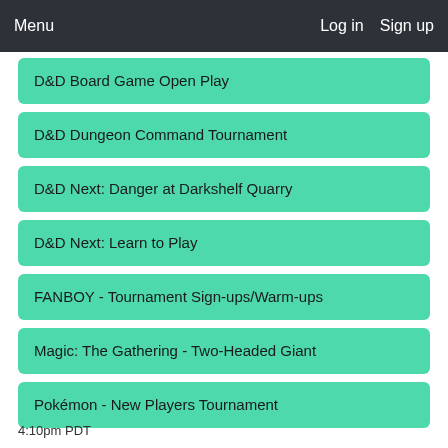Menu   Log in   Sign up
D&D Board Game Open Play
D&D Dungeon Command Tournament
D&D Next: Danger at Darkshelf Quarry
D&D Next: Learn to Play
FANBOY - Tournament Sign-ups/Warm-ups
Magic: The Gathering - Two-Headed Giant
Pokémon - New Players Tournament
4:10pm PDT